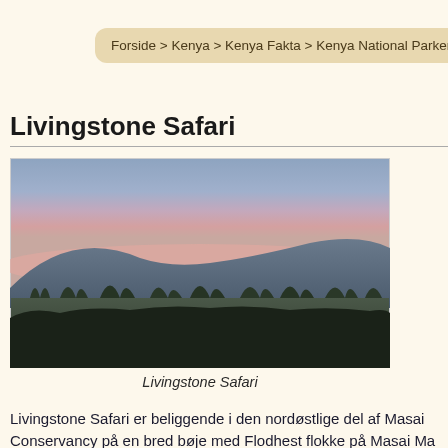Forside > Kenya > Kenya Fakta > Kenya National Parker > Masai Ma
Livingstone Safari
[Figure (photo): Safari landscape at dusk showing silhouettes of trees and hills against a pink and purple sky]
Livingstone Safari
Livingstone Safari er beliggende i den nordøstlige del af Masai Conservancy på en bred bøje med Flodhest flokke på Masai Ma